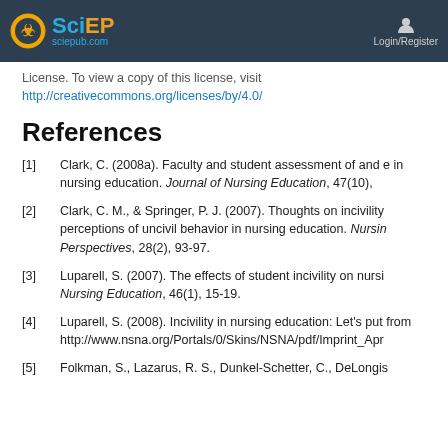SciEP sciepub.com Login/Register
License. To view a copy of this license, visit http://creativecommons.org/licenses/by/4.0/
References
[1] Clark, C. (2008a). Faculty and student assessment of and e in nursing education. Journal of Nursing Education, 47(10),
[2] Clark, C. M., & Springer, P. J. (2007). Thoughts on incivility perceptions of uncivil behavior in nursing education. Nursing Perspectives, 28(2), 93-97.
[3] Luparell, S. (2007). The effects of student incivility on nursi Nursing Education, 46(1), 15-19.
[4] Luparell, S. (2008). Incivility in nursing education: Let's put from http://www.nsna.org/Portals/0/Skins/NSNA/pdf/Imprint_Apr
[5] Folkman, S., Lazarus, R. S., Dunkel-Schetter, C., DeLongis